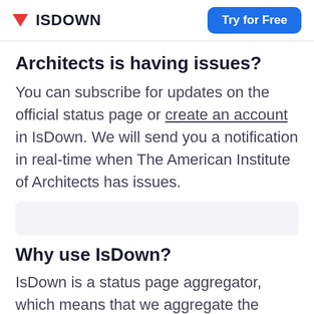ISDOWN | Try for Free
Architects is having issues?
You can subscribe for updates on the official status page or create an account in IsDown. We will send you a notification in real-time when The American Institute of Architects has issues.
Why use IsDown?
IsDown is a status page aggregator, which means that we aggregate the